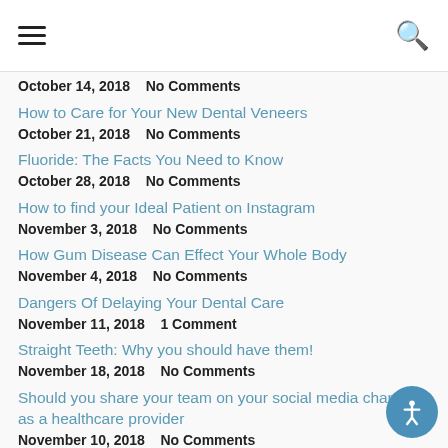☰ [menu] [search]
October 14, 2018    No Comments
How to Care for Your New Dental Veneers
October 21, 2018    No Comments
Fluoride: The Facts You Need to Know
October 28, 2018    No Comments
How to find your Ideal Patient on Instagram
November 3, 2018    No Comments
How Gum Disease Can Effect Your Whole Body
November 4, 2018    No Comments
Dangers Of Delaying Your Dental Care
November 11, 2018    1 Comment
Straight Teeth: Why you should have them!
November 18, 2018    No Comments
Should you share your team on your social media channels as a healthcare provider
November 10, 2018    No Comments
Gain more followers by showing potential patients who you are behind-the-scrubs
November 17, 2018    No Comments